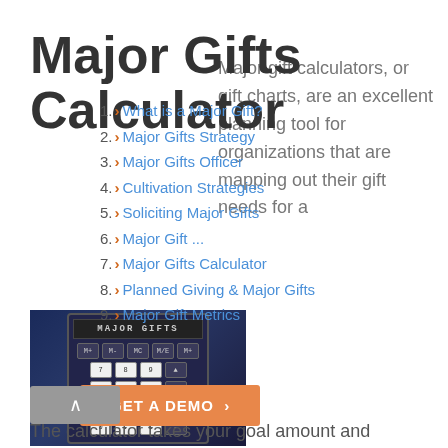Major Gifts Calculator
1. What is a Major Gift?
2. Major Gifts Strategy
3. Major Gifts Officer
4. Cultivation Strategies
5. Soliciting Major Gifts
6. Major Gift ...
7. Major Gifts Calculator
8. Planned Giving & Major Gifts
9. Major Gift Metrics
[Figure (photo): Man pointing at a calculator interface with MAJOR GIFTS display]
Major gift calculators, or gift charts, are an excellent planning tool for organizations that are mapping out their gift needs for a campaign.
GET A DEMO >
The calculator takes your goal amount and